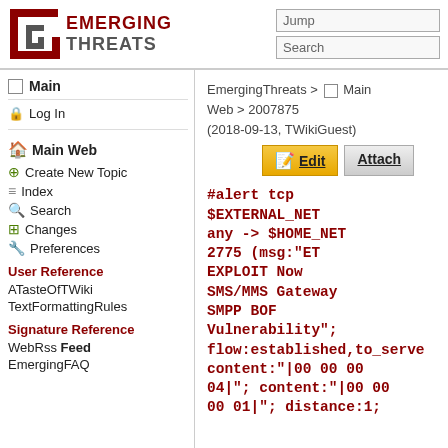Emerging Threats
EmergingThreats > Main Web > 2007875 (2018-09-13, TWikiGuest)
Main
Log In
Main Web
Create New Topic
Index
Search
Changes
Preferences
User Reference
ATasteOfTWiki
TextFormattingRules
Signature Reference
WebRss Feed
EmergingFAQ
#alert tcp $EXTERNAL_NET any -> $HOME_NET 2775 (msg:"ET EXPLOIT Now SMS/MMS Gateway SMPP BOF Vulnerability"; flow:established,to_serve content:"|00 00 00 04|"; content:"|00 00 00 01|"; distance:1;